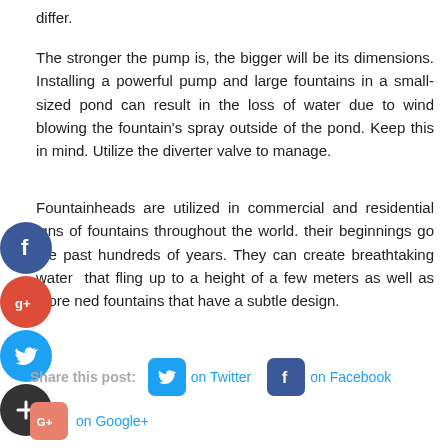differ.
The stronger the pump is, the bigger will be its dimensions. Installing a powerful pump and large fountains in a small-sized pond can result in the loss of water due to wind blowing the fountain's spray outside of the pond. Keep this in mind. Utilize the diverter valve to manage.
Fountainheads are utilized in commercial and residential igns of fountains throughout the world. their beginnings go the past hundreds of years. They can create breathtaking water that fling up to a height of a few meters as well as more ned fountains that have a subtle design.
[Figure (infographic): Social media share icons: Facebook (blue circle), Google+ (red circle), Twitter (blue circle), Add/plus (dark circle)]
Share this post:  on Twitter  on Facebook  on Google+